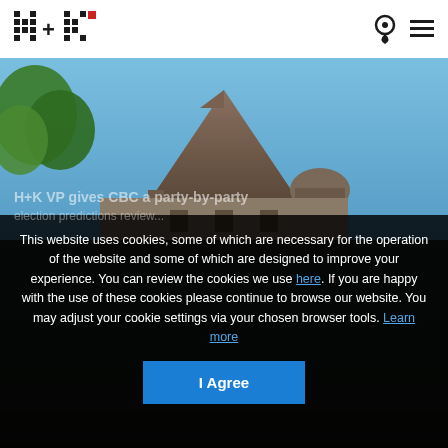[Figure (logo): H+K Strategies logo — pixelated H+K pattern with small red square]
[Figure (photo): Aerial/street view photograph of a historic building with pyramid/dome roof under blue sky with trees]
H+K VP gives CBC a party-by-party
This website uses cookies, some of which are necessary for the operation of the website and some of which are designed to improve your experience. You can review the cookies we use here. If you are happy with the use of these cookies please continue to browse our website. You may adjust your cookie settings via your chosen browser tools. Learn more
I Agree